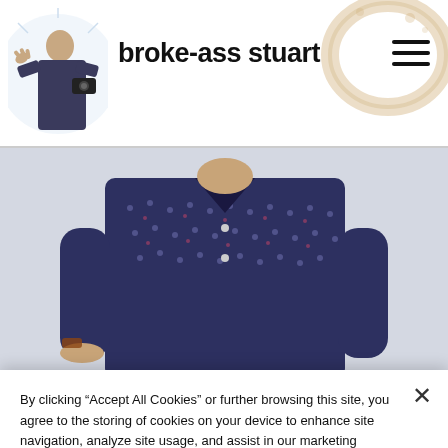broke-ass stuart
[Figure (photo): Person in a dark navy dotted shirt, posing against a light background]
By clicking “Accept All Cookies” or further browsing this site, you agree to the storing of cookies on your device to enhance site navigation, analyze site usage, and assist in our marketing efforts.  Cookie Policy
Cookies Settings
Reject All
Accept All Cookies